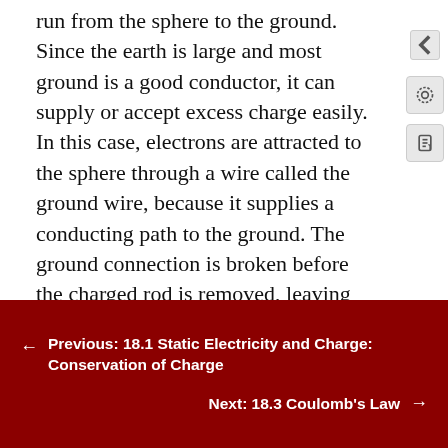run from the sphere to the ground. Since the earth is large and most ground is a good conductor, it can supply or accept excess charge easily. In this case, electrons are attracted to the sphere through a wire called the ground wire, because it supplies a conducting path to the ground. The ground connection is broken before the charged rod is removed, leaving the sphere with an excess charge opposite to that of the rod. Again, an opposite charge is achieved when charging by induction and the charged rod loses none of its excess charge.
[Figure (illustration): Two spheres side by side: a dark red sphere on the left with an upward arrow, and a gray metallic sphere on the right]
← Previous: 18.1 Static Electricity and Charge: Conservation of Charge
Next: 18.3 Coulomb's Law →